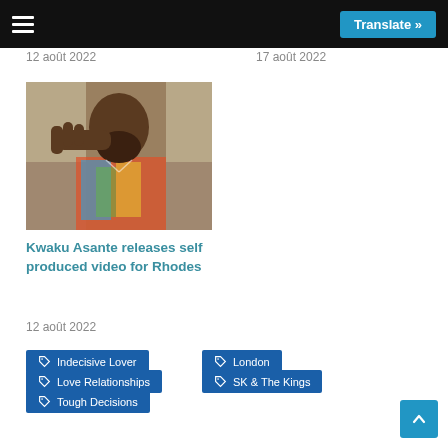Translate »
12 août 2022   17 août 2022
[Figure (photo): A man in a colorful patterned shirt making a hand gesture, possibly pointing or snapping fingers]
Kwaku Asante releases self produced video for Rhodes
12 août 2022
Indecisive Lover
London
Love Relationships
SK & The Kings
Tough Decisions